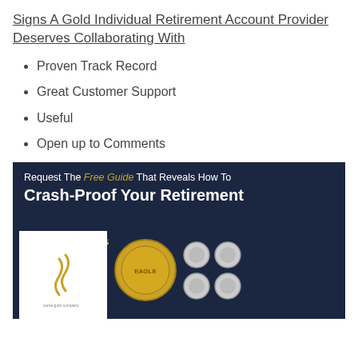Signs A Gold Individual Retirement Account Provider Deserves Collaborating With
Proven Track Record
Great Customer Support
Useful
Open up to Comments
[Figure (infographic): Dark navy advertisement banner reading 'Request The Free Guide That Reveals How To Crash-Proof Your Retirement & Unlock Massive Profit Opportunities!' with images of gold coins, silver coins, and a white booklet with gold logo on the left side.]